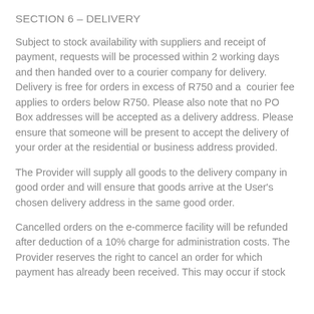SECTION 6 – DELIVERY
Subject to stock availability with suppliers and receipt of payment, requests will be processed within 2 working days and then handed over to a courier company for delivery. Delivery is free for orders in excess of R750 and a  courier fee applies to orders below R750. Please also note that no PO Box addresses will be accepted as a delivery address. Please ensure that someone will be present to accept the delivery of your order at the residential or business address provided.
The Provider will supply all goods to the delivery company in good order and will ensure that goods arrive at the User's chosen delivery address in the same good order.
Cancelled orders on the e-commerce facility will be refunded after deduction of a 10% charge for administration costs. The Provider reserves the right to cancel an order for which payment has already been received. This may occur if stock